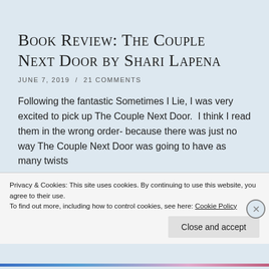Book Review: The Couple Next Door by Shari Lapena
JUNE 7, 2019  /  21 COMMENTS
Following the fantastic Sometimes I Lie, I was very excited to pick up The Couple Next Door.  I think I read them in the wrong order- because there was just no way The Couple Next Door was going to have as many twists
Privacy & Cookies: This site uses cookies. By continuing to use this website, you agree to their use.
To find out more, including how to control cookies, see here: Cookie Policy
Close and accept